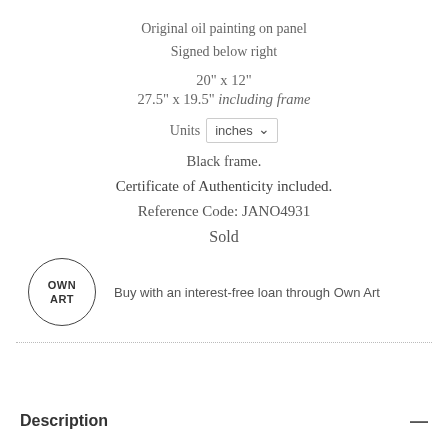Original oil painting on panel
Signed below right
20" x 12"
27.5" x 19.5" including frame
Units  inches
Black frame.
Certificate of Authenticity included.
Reference Code: JANO4931
Sold
[Figure (logo): Own Art circular logo with text OWN ART]
Buy with an interest-free loan through Own Art
Description